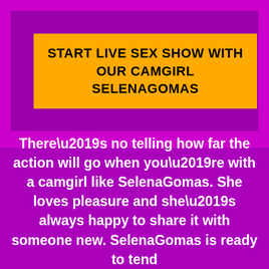START LIVE SEX SHOW WITH OUR CAMGIRL SELENAGOMAS
There’s no telling how far the action will go when you’re with a camgirl like SelenaGomas. She loves pleasure and she’s always happy to share it with someone new. SelenaGomas is ready to tend